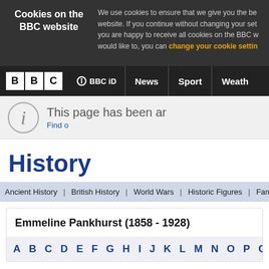Cookies on the BBC website — We use cookies to ensure that we give you the best experience on our website. If you continue without changing your settings, we'll assume that you are happy to receive all cookies on the BBC website. However, if you would like to, you can change your cookie settings
BBC | BBC iD | News | Sport | Weather
This page has been archived and is no longer updated. Find out more about page archiving.
History
Ancient History | British History | World Wars | Historic Figures | Family Hi...
Emmeline Pankhurst (1858 - 1928)
A B C D E F G H I J K L M N O P Q R